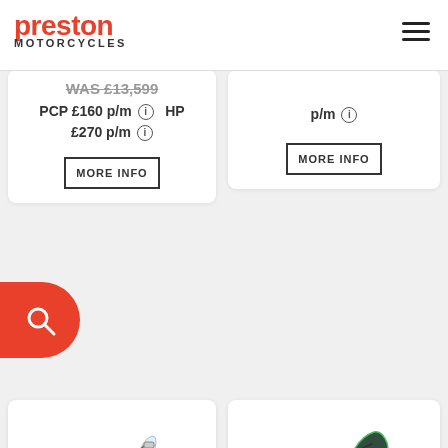Preston Motorcycles
WAS £13,599
PCP £160 p/m  HP £270 p/m
p/m
MORE INFO
MORE INFO
[Figure (photo): Kawasaki Versys 650 motorcycle, silver/grey, adventure touring style]
Kawasaki Versys 650
KLE650FMFNN WT1
[Figure (photo): Kawasaki Ninja ZX-10R motorcycle, black and green sport bike]
Kawasaki Ninja ZX-10R
ZX1002LMFAN BK2